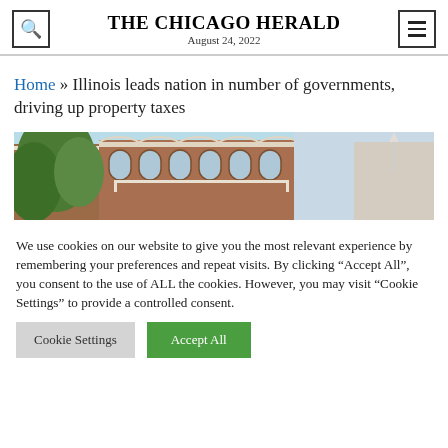THE CHICAGO HERALD
August 24, 2022
Home » Illinois leads nation in number of governments, driving up property taxes
[Figure (photo): Photo of historic brick buildings with ornate facades and green trees in foreground, blue sky background]
We use cookies on our website to give you the most relevant experience by remembering your preferences and repeat visits. By clicking “Accept All”, you consent to the use of ALL the cookies. However, you may visit “Cookie Settings” to provide a controlled consent.